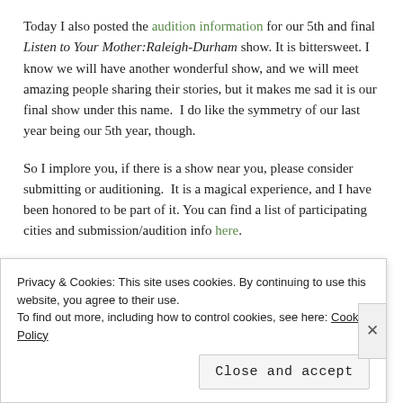Today I also posted the audition information for our 5th and final Listen to Your Mother:Raleigh-Durham show. It is bittersweet. I know we will have another wonderful show, and we will meet amazing people sharing their stories, but it makes me sad it is our final show under this name.  I do like the symmetry of our last year being our 5th year, though.
So I implore you, if there is a show near you, please consider submitting or auditioning.  It is a magical experience, and I have been honored to be part of it. You can find a list of participating cities and submission/audition info here.
Advertisements
[Figure (other): Green advertisement banner with sparkle/dot pattern]
Privacy & Cookies: This site uses cookies. By continuing to use this website, you agree to their use.
To find out more, including how to control cookies, see here: Cookie Policy
Close and accept